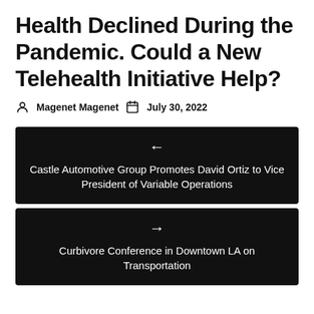Health Declined During the Pandemic. Could a New Telehealth Initiative Help?
Magenet Magenet   July 30, 2022
← Castle Automotive Group Promotes David Ortiz to Vice President of Variable Operations
→ Curbivore Conference in Downtown LA on Transportation